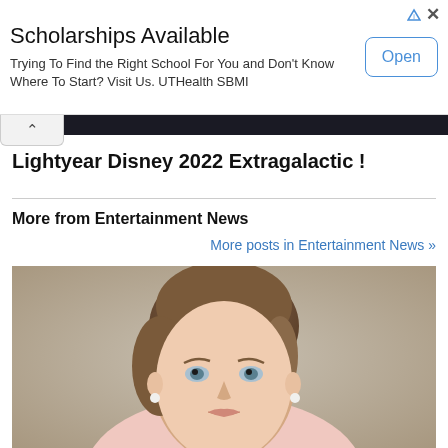[Figure (screenshot): Advertisement banner for UTHealth SBMI scholarships with 'Open' button and close/info icons]
Lightyear Disney 2022 Extragalactic !
More from Entertainment News
More posts in Entertainment News »
[Figure (photo): Portrait photo of a woman with short brown hair, blue eyes, wearing pearl earrings and a light pink top, against a neutral gray background]